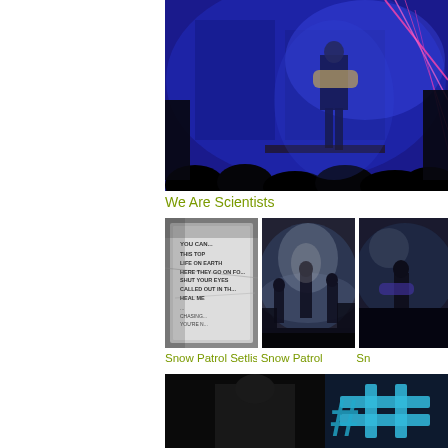[Figure (photo): Concert photo of guitarist on stage with blue lighting and laser effects, audience silhouettes in foreground]
We Are Scientists
[Figure (photo): Black and white photo of a crumpled setlist paper with song titles visible]
[Figure (photo): Concert photo of Snow Patrol band on stage with moody lighting]
[Figure (photo): Partially visible concert photo, cropped on right side]
Snow Patrol Setlist
Snow Patrol
Sn
[Figure (photo): Dark concert photo with blue hashtag graffiti text visible on right side]